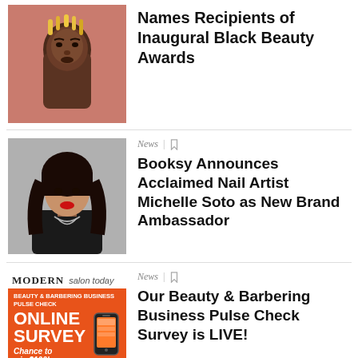[Figure (photo): Portrait of a Black woman against a salmon/pink background]
Names Recipients of Inaugural Black Beauty Awards
[Figure (photo): Woman with long dark curly hair wearing a black blazer and silver necklace, smiling with red lipstick]
News | [bookmark]
Booksy Announces Acclaimed Nail Artist Michelle Soto as New Brand Ambassador
[Figure (other): Modern Salon / salon today online survey advertisement - Beauty & Barbering Business Pulse Check, Online Survey, Chance to win $100!]
News | [bookmark]
Our Beauty & Barbering Business Pulse Check Survey is LIVE!